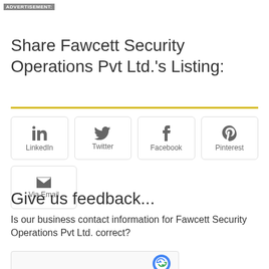ADVERTISEMENT:
Share Fawcett Security Operations Pvt Ltd.'s Listing:
[Figure (other): Social sharing buttons: LinkedIn, Twitter, Facebook, Pinterest, Via Email]
Give us feedback...
Is our business contact information for Fawcett Security Operations Pvt Ltd. correct?
[Figure (other): reCAPTCHA verification widget (partially visible)]